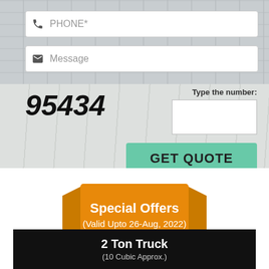[Figure (screenshot): Form with phone and message input fields, CAPTCHA number 95434, input box labeled 'Type the number:', and a teal GET QUOTE button, on a textured brick/wood background]
[Figure (infographic): Orange ribbon/banner with text 'Special Offers (Valid Upto 26-Aug, 2022)']
2 Ton Truck
(10 Cubic Approx.)